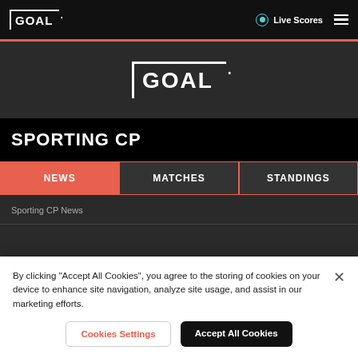GOAL - Live Scores
[Figure (logo): GOAL logo centered on dark background]
SPORTING CP
NEWS
MATCHES
STANDINGS
Sporting CP News
By clicking "Accept All Cookies", you agree to the storing of cookies on your device to enhance site navigation, analyze site usage, and assist in our marketing efforts.
Cookies Settings
Accept All Cookies